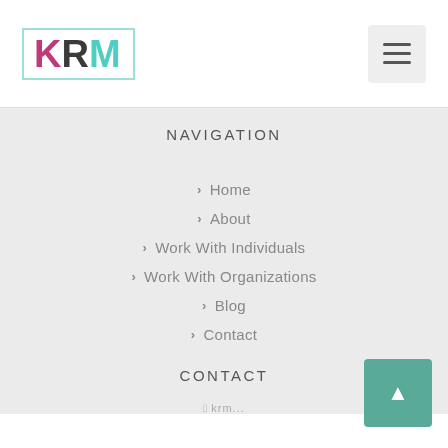[Figure (logo): KRM logo with K in magenta, R in dark gray, M in teal, bordered by a teal rectangle]
[Figure (other): Hamburger menu icon, three horizontal lines, gray rounded square background]
NAVIGATION
> Home
> About
> Work With Individuals
> Work With Organizations
> Blog
> Contact
CONTACT
[Figure (other): Back to top button, teal square with upward arrow]
krm...